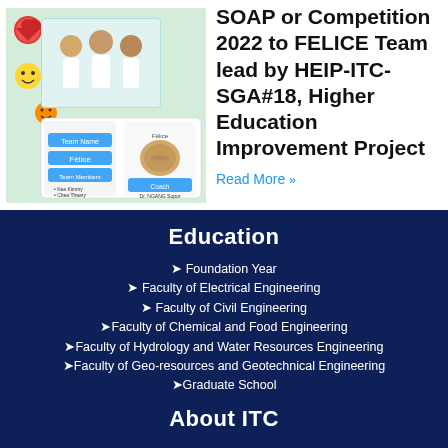[Figure (photo): Photo of the FELICE team with app display cards showing team name Félice, team members Kea Kimmy and Chea Thaary, Coach Dr. NGANG Sopor, from Institute of Technology of Cambodia (ITC)]
SOAP or Competition 2022 to FELICE Team lead by HEIP-ITC-SGA#18, Higher Education Improvement Project
Read More »
Education
➤ Foundation Year
➤ Faculty of Electrical Engineering
➤ Faculty of Civil Engineering
➤Faculty of Chemical and Food Engineering
➤Faculty of Hydrology and Water Resources Engineering
➤Faculty of Geo-resources and Geotechnical Engineering
➤Graduate School
About ITC